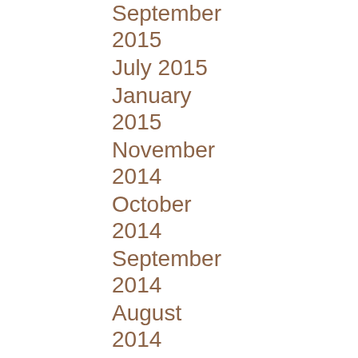September 2015
July 2015
January 2015
November 2014
October 2014
September 2014
August 2014
May 2014
April 2014
February 2014
January 2014
November